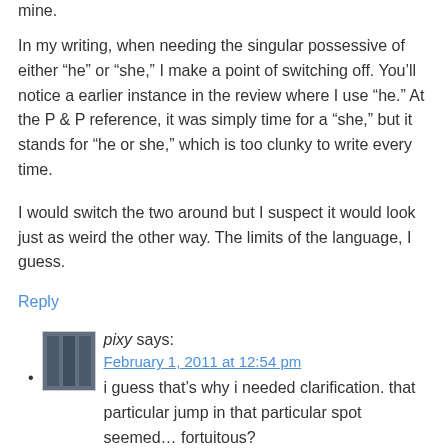mine.
In my writing, when needing the singular possessive of either “he” or “she,” I make a point of switching off. You’ll notice a earlier instance in the review where I use “he.” At the P & P reference, it was simply time for a “she,” but it stands for “he or she,” which is too clunky to write every time.
I would switch the two around but I suspect it would look just as weird the other way. The limits of the language, I guess.
Reply
pixy says: February 1, 2011 at 12:54 pm
i guess that’s why i needed clarification. that particular jump in that particular spot seemed… fortuitous?
i read too close.